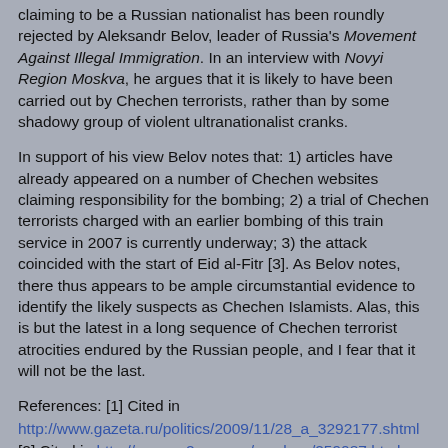claiming to be a Russian nationalist has been roundly rejected by Aleksandr Belov, leader of Russia's Movement Against Illegal Immigration. In an interview with Novyi Region Moskva, he argues that it is likely to have been carried out by Chechen terrorists, rather than by some shadowy group of violent ultranationalist cranks.
In support of his view Belov notes that: 1) articles have already appeared on a number of Chechen websites claiming responsibility for the bombing; 2) a trial of Chechen terrorists charged with an earlier bombing of this train service in 2007 is currently underway; 3) the attack coincided with the start of Eid al-Fitr [3]. As Belov notes, there thus appears to be ample circumstantial evidence to identify the likely suspects as Chechen Islamists. Alas, this is but the latest in a long sequence of Chechen terrorist atrocities endured by the Russian people, and I fear that it will not be the last.
References: [1] Cited in http://www.gazeta.ru/politics/2009/11/28_a_3292177.shtml [2] Cited in http://www.nr2.com.ua/moskow/259087.html [3] http://www.nr2.com.ua/moskow/259087.html